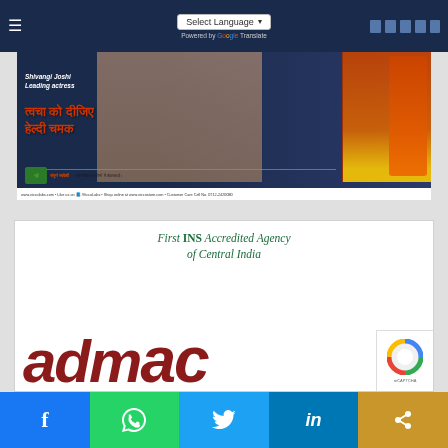[Figure (screenshot): Navigation bar with dark blue background, hamburger menu icon on left, Select Language dropdown in center with Powered by Google Translate text below, social/search icons on right]
[Figure (photo): Vicco Turmeric cream advertisement banner. Shows celebrity Shivangi Joshi (Leading actress) on left, Hindi text 'त्वचा को दीजिए हेल्दी चमक' in center, Vicco product bottles on right. Vicco Sanjeevani logo and Hindi availability text at bottom, URL bar with www.viccolabs.com details.]
[Figure (logo): White advertisement panel for admac agency. Green italic text reads 'First INS Accredited Agency of Central India'. Large dark red bold italic 'admac' logo text at bottom left. reCAPTCHA badge at bottom right.]
[Figure (infographic): Social media sharing bar at bottom with five sections: Facebook (blue, f icon), WhatsApp (green, phone icon), Twitter (light blue, bird icon), LinkedIn (dark blue, in icon), and a chain/link icon (gold/yellow background).]